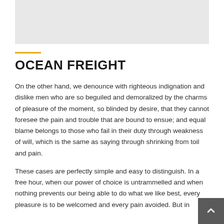[Figure (other): Gray placeholder image box at the top of the page]
OCEAN FREIGHT
On the other hand, we denounce with righteous indignation and dislike men who are so beguiled and demoralized by the charms of pleasure of the moment, so blinded by desire, that they cannot foresee the pain and trouble that are bound to ensue; and equal blame belongs to those who fail in their duty through weakness of will, which is the same as saying through shrinking from toil and pain.
These cases are perfectly simple and easy to distinguish. In a free hour, when our power of choice is untrammelled and when nothing prevents our being able to do what we like best, every pleasure is to be welcomed and every pain avoided. But in